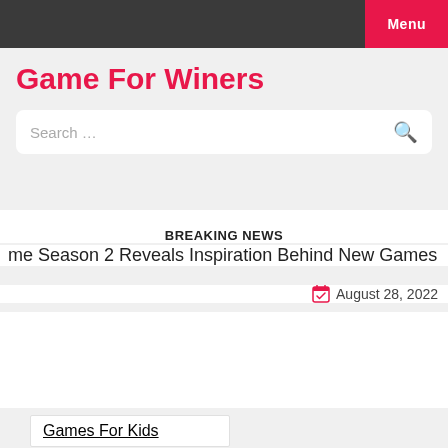Menu
Game For Winers
Search …
BREAKING NEWS
me Season 2 Reveals Inspiration Behind New Games  |  PS
August 28, 2022
Games For Kids